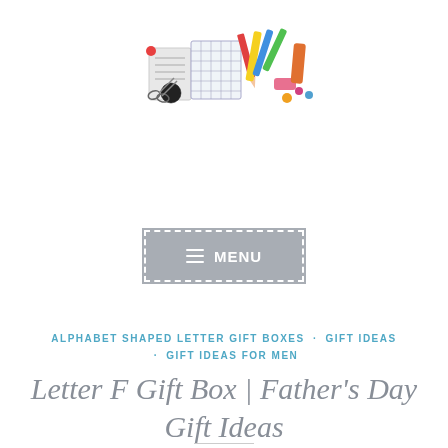[Figure (illustration): Colorful illustration of stationery, craft and gift items including markers, pencils, paper, grid notebook, scissors, and various crafting tools arranged in a horizontal banner style]
[Figure (other): Gray rectangular menu button with dashed white border, hamburger icon (three horizontal lines) and the word MENU in white uppercase bold text]
ALPHABET SHAPED LETTER GIFT BOXES · GIFT IDEAS · GIFT IDEAS FOR MEN
Letter F Gift Box | Father's Day Gift Ideas